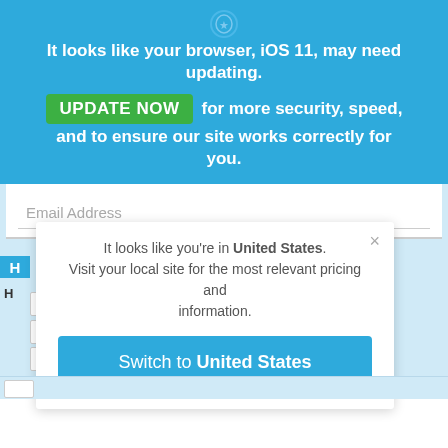[Figure (screenshot): Browser notification banner with iOS 11 update warning, email address input field, and a modal popup prompting the user to switch to United States site.]
It looks like your browser, iOS 11, may need updating. UPDATE NOW for more security, speed, and to ensure our site works correctly for you.
Email Address
It looks like you're in United States. Visit your local site for the most relevant pricing and information.
Switch to United States